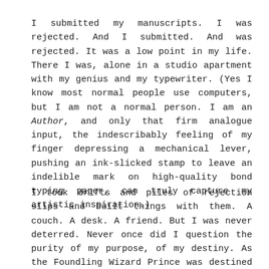I submitted my manuscripts. I was rejected. And I submitted. And was rejected. It was a low point in my life. There I was, alone in a studio apartment with my genius and my typewriter. (Yes I know most normal people use computers, but I am not a normal person. I am an Author, and only that firm analogue input, the indescribably feeling of my finger depressing a mechanical lever, pushing an ink-slicked stamp to leave an indelible mark on high-quality bond typing paper, can truly capture my artistic inspiration.)
I took drifts and piles of rejection slips and built things with them. A couch. A desk. A friend. But I was never deterred. Never once did I question the purity of my purpose, of my destiny. As the Foundling Wizard Prince was destined to become the king of